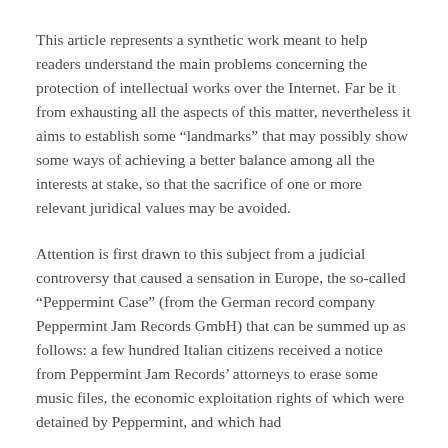This article represents a synthetic work meant to help readers understand the main problems concerning the protection of intellectual works over the Internet. Far be it from exhausting all the aspects of this matter, nevertheless it aims to establish some "landmarks" that may possibly show some ways of achieving a better balance among all the interests at stake, so that the sacrifice of one or more relevant juridical values may be avoided.
Attention is first drawn to this subject from a judicial controversy that caused a sensation in Europe, the so-called "Peppermint Case" (from the German record company Peppermint Jam Records GmbH) that can be summed up as follows: a few hundred Italian citizens received a notice from Peppermint Jam Records' attorneys to erase some music files, the economic exploitation rights of which were detained by Peppermint, and which had